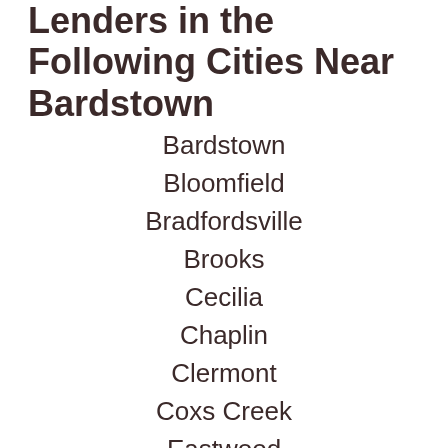Lenders in the Following Cities Near Bardstown
Bardstown
Bloomfield
Bradfordsville
Brooks
Cecilia
Chaplin
Clermont
Coxs Creek
Eastwood
Elizabethtown